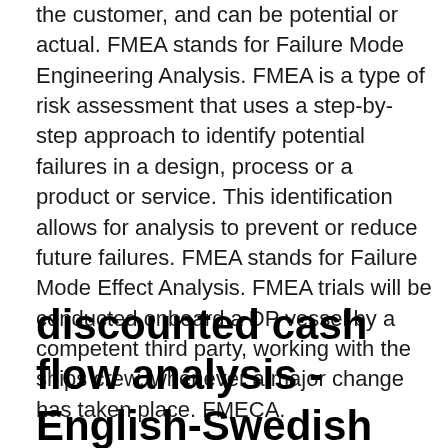the customer, and can be potential or actual. FMEA stands for Failure Mode Engineering Analysis. FMEA is a type of risk assessment that uses a step-by-step approach to identify potential failures in a design, process or a product or service. This identification allows for analysis to prevent or reduce future failures. FMEA stands for Failure Mode Effect Analysis. FMEA trials will be conducted onboard a DP vessel by a competent third party, working with the ships crew, whenever a major change has taken place. FMECA.
discounted cash flow analysis - English-Swedish Dictionary